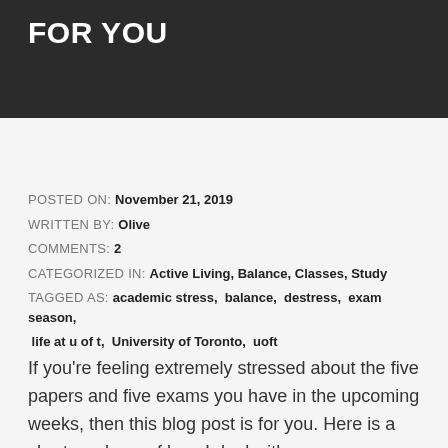FOR YOU
POSTED ON: November 21, 2019
WRITTEN BY: Olive
COMMENTS: 2
CATEGORIZED IN: Active Living, Balance, Classes, Study
TAGGED AS: academic stress, balance, destress, exam season, life at u of t, University of Toronto, uoft
If you're feeling extremely stressed about the five papers and five exams you have in the upcoming weeks, then this blog post is for you. Here is a short rundown of how I deal with my November/December